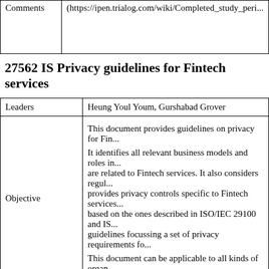| Comments |  |
| --- | --- |
| Comments | (https://ipen.trialog.com/wiki/Completed_study_peri... |
27562 IS Privacy guidelines for Fintech services
| Leaders | Heung Youl Youm, Gurshabad Grover |
| Objective | This document provides guidelines on privacy for Fi...

It identifies all relevant business models and roles in... are related to Fintech services. It also considers regul... provides privacy controls specific to Fintech services... based on the ones described in ISO/IEC 29100 and IS... guidelines focussing a set of privacy requirements fo...

This document can be applicable to all kinds of organ... |
| Documentation |  |
|  | 1st WD was provided in April 2021 |